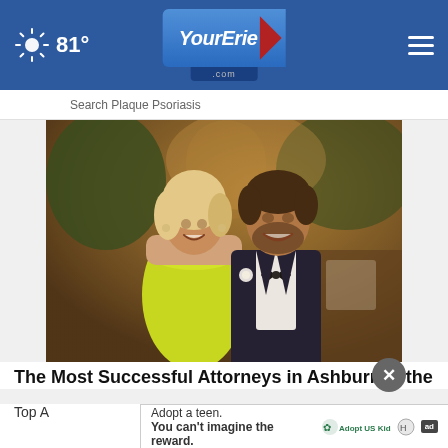81° YourErie.com
Search Plaque Psoriasis
[Figure (photo): A couple dressed formally at what appears to be a gala or wedding reception. The woman is wearing a bright neon yellow/green strapless dress and the man is wearing a dark tuxedo with a white boutonniere. They are smiling and posing together in an elegant ballroom setting.]
The Most Successful Attorneys in Ashburn See the
Top A
Adopt a teen. You can't imagine the reward. Adopt US Kids ad